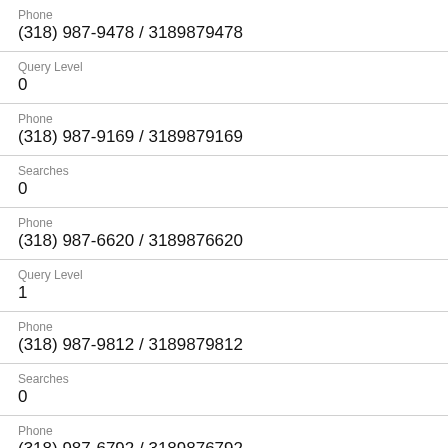Phone
(318) 987-9478 / 3189879478
Query Level
0
Phone
(318) 987-9169 / 3189879169
Searches
0
Phone
(318) 987-6620 / 3189876620
Query Level
1
Phone
(318) 987-9812 / 3189879812
Searches
0
Phone
(318) 987-6792 / 3189876792
Query Level